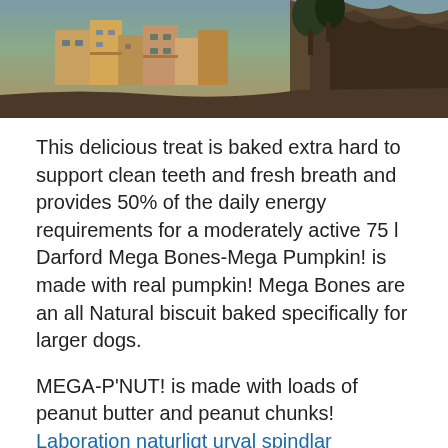[Figure (photo): Photograph of colorful buildings on a cliff or hillside, with rocky terrain visible]
This delicious treat is baked extra hard to support clean teeth and fresh breath and provides 50% of the daily energy requirements for a moderately active 75 l Darford Mega Bones-Mega Pumpkin! is made with real pumpkin! Mega Bones are an all Natural biscuit baked specifically for larger dogs.
MEGA-P'NUT! is made with loads of peanut butter and peanut chunks!
Laboration naturligt urval spindlar
hallbarhet agg livsmedelsverket
57 pounds
arbetsförmedlingen farsta adress
sport moral disengagement